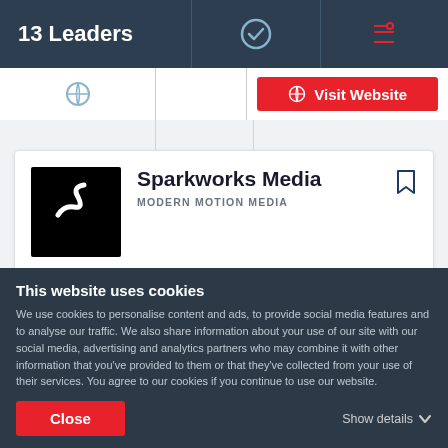13 Leaders
[Figure (screenshot): Visit Website button in red with globe icon]
Sparkworks Media
MODERN MOTION MEDIA
|  |  |
| --- | --- |
| Undisclosed | Undisclosed |
| 2 - 9 | Seattle, WA |
This website uses cookies
We use cookies to personalise content and ads, to provide social media features and to analyse our traffic. We also share information about your use of our site with our social media, advertising and analytics partners who may combine it with other information that you've provided to them or that they've collected from your use of their services. You agree to our cookies if you continue to use our website.
Close
Show details